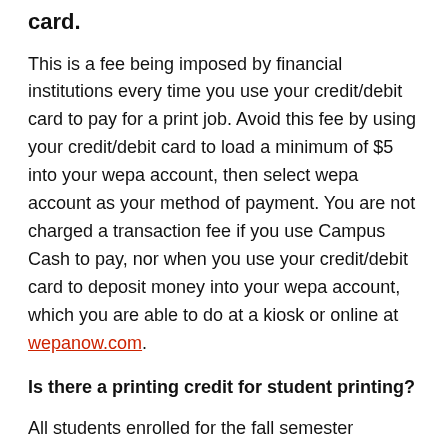card.
This is a fee being imposed by financial institutions every time you use your credit/debit card to pay for a print job. Avoid this fee by using your credit/debit card to load a minimum of $5 into your wepa account, then select wepa account as your method of payment. You are not charged a transaction fee if you use Campus Cash to pay, nor when you use your credit/debit card to deposit money into your wepa account, which you are able to do at a kiosk or online at wepanow.com.
Is there a printing credit for student printing?
All students enrolled for the fall semester received $5 worth of free prints to use during the entire school year.